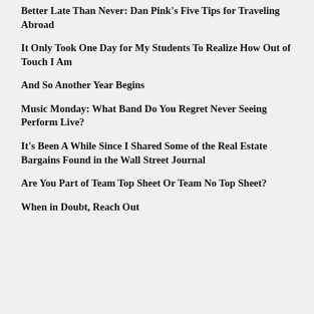Better Late Than Never: Dan Pink's Five Tips for Traveling Abroad
It Only Took One Day for My Students To Realize How Out of Touch I Am
And So Another Year Begins
Music Monday: What Band Do You Regret Never Seeing Perform Live?
It's Been A While Since I Shared Some of the Real Estate Bargains Found in the Wall Street Journal
Are You Part of Team Top Sheet Or Team No Top Sheet?
When in Doubt, Reach Out